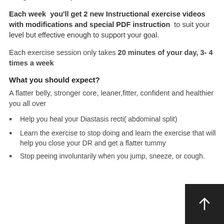communication throughout the 8weeks to ensure your plan is being done correctly to ensure result.
Each week you'll get 2 new Instructional exercise videos with modifications and special PDF instruction to suit your level but effective enough to support your goal.
Each exercise session only takes 20 minutes of your day, 3- 4 times a week
What you should expect?
A flatter belly, stronger core, leaner,fitter, confident and healthier you all over
Help you heal your Diastasis recti( abdominal split)
Learn the exercise to stop doing and learn the exercise that will help you close your DR and get a flatter tummy
Stop peeing involuntarily when you jump, sneeze, or cough.